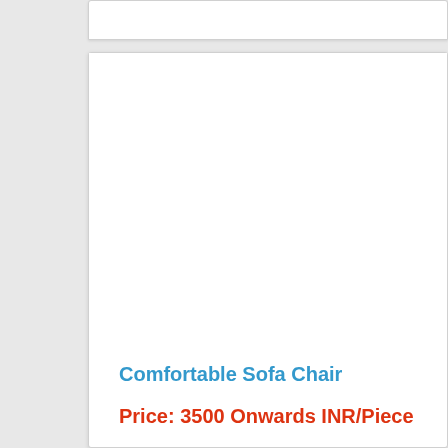[Figure (photo): Product image area for Comfortable Sofa Chair (image not visible in crop)]
Comfortable Sofa Chair
Price: 3500 Onwards INR/Piece
Finish: Smooth